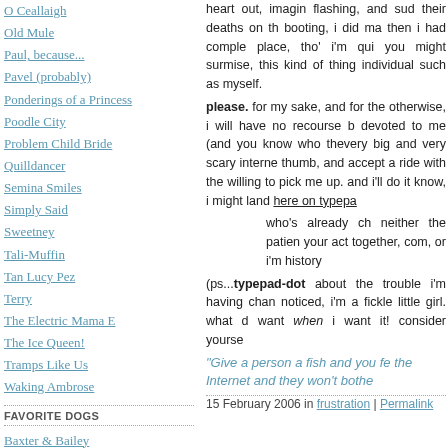O Ceallaigh
Old Mule
Paul, because...
Pavel (probably)
Ponderings of a Princess
Poodle City
Problem Child Bride
Quilldancer
Semina Smiles
Simply Said
Sweetney
Tali-Muffin
Tan Lucy Pez
Terry
The Electric Mama E
The Ice Queen!
Tramps Like Us
Waking Ambrose
FAVORITE DOGS
Baxter & Bailey
Chatham ~ the C.A.T.
Delta Bunny
Jack Attack
heart out, imagin... flashing, and sud... their deaths on th... booting, i did ma... then i had comple... place, tho' i'm qui... you might surmise, this kind of thing... individual such as myself.
please. for my sake, and for the... otherwise, i will have no recourse b... devoted to me (and you know who... thevery big and very scary interne... thumb, and accept a ride with the... willing to pick me up. and i'll do it... know, i might land here on typepa...
who's already ch... neither the patien... your act together,... com, or i'm history...
(ps...typepad-dot... about the trouble i'm having chan... noticed, i'm a fickle little girl. what d... want when i want it! consider yourse...
"Give a person a fish and you fe... the Internet and they won't bothe...
15 February 2006 in frustration | Permalink